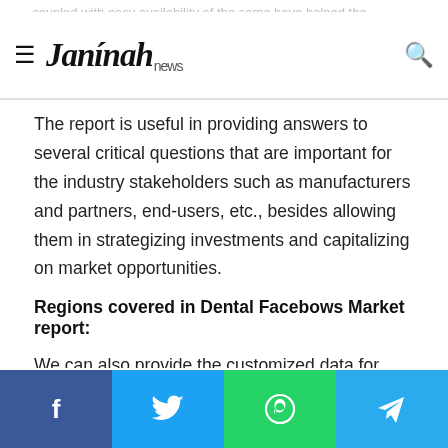Jannah news
The report is useful in providing answers to several critical questions that are important for the industry stakeholders such as manufacturers and partners, end-users, etc., besides allowing them in strategizing investments and capitalizing on market opportunities.
Regions covered in Dental Facebows Market report:
We can also provide the customized data for separate regions like North America, United States, Canada, Mexico, Asia-Pacific, China, India, Japan, South Korea, Australia, Indonesia, Singapore, Rest of Asia-Pacific, Europe, Germany, France, UK, Italy, Spain, Russia, Rest of Europe, Central and South